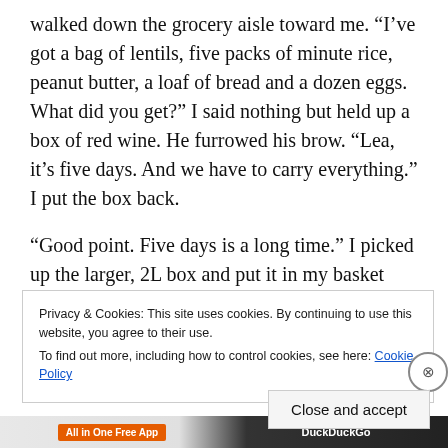walked down the grocery aisle toward me. “I’ve got a bag of lentils, five packs of minute rice, peanut butter, a loaf of bread and a dozen eggs. What did you get?” I said nothing but held up a box of red wine. He furrowed his brow. “Lea, it’s five days. And we have to carry everything.” I put the box back.
“Good point. Five days is a long time.” I picked up the larger, 2L box and put it in my basket next to a bag of dried kiwis. “I’m ready.” Jared frowned and tipped his head to one side. “I’ll carry it!” I proclaimed and promised, “You’ll
Privacy & Cookies: This site uses cookies. By continuing to use this website, you agree to their use.
To find out more, including how to control cookies, see here: Cookie Policy